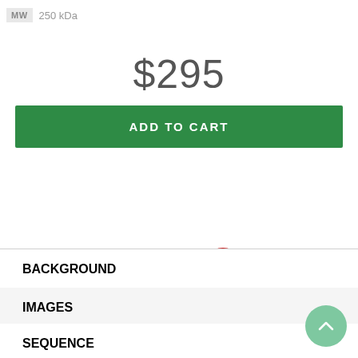MW   250 kDa
$295
ADD TO CART
[Figure (illustration): DATASHEET label with red circular PDF download icon]
BACKGROUND
IMAGES
SEQUENCE